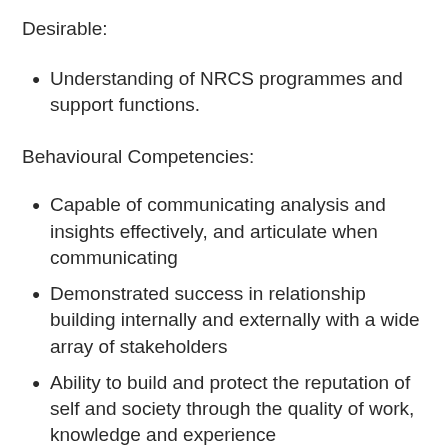Desirable:
Understanding of NRCS programmes and support functions.
Behavioural Competencies:
Capable of communicating analysis and insights effectively, and articulate when communicating
Demonstrated success in relationship building internally and externally with a wide array of stakeholders
Ability to build and protect the reputation of self and society through the quality of work, knowledge and experience
High ethical standards and honesty in handling